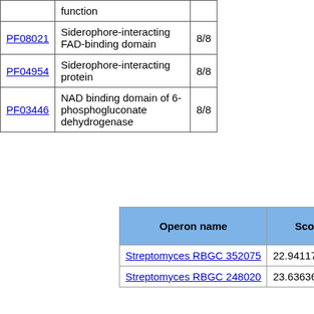|  | function |  |
| --- | --- | --- |
| PF08021 | Siderophore-interacting FAD-binding domain | 8/8 |
| PF04954 | Siderophore-interacting protein | 8/8 |
| PF03446 | NAD binding domain of 6-phosphogluconate dehydrogenase | 8/8 |
| Operon name | Score |
| --- | --- |
| Streptomyces RBGC 352075 | 22.941176470 |
| Streptomyces RBGC 248020 | 23.636363636 |